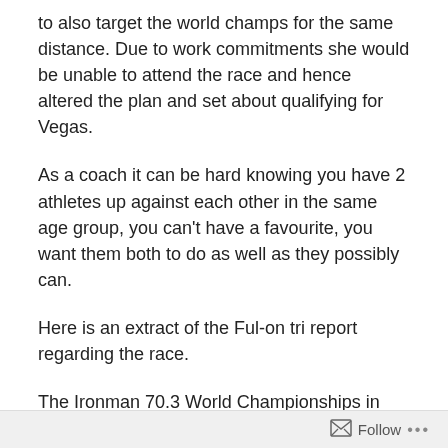to also target the world champs for the same distance. Due to work commitments she would be unable to attend the race and hence altered the plan and set about qualifying for Vegas.
As a coach it can be hard knowing you have 2 athletes up against each other in the same age group, you can't have a favourite, you want them both to do as well as they possibly can.
Here is an extract of the Ful-on tri report regarding the race.
The Ironman 70.3 World Championships in Las Vegas is a truly brutal race, with a hilly bike course and over 9kms of climbing on the run. On a sizzling hot day which caused
Follow